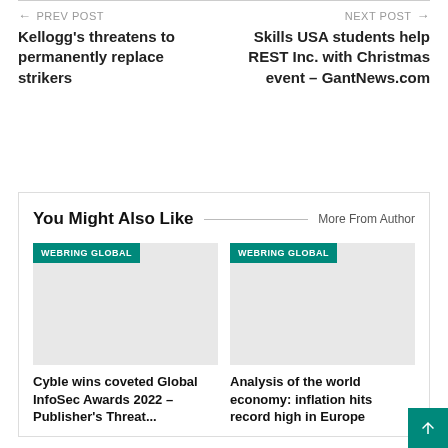← PREV POST
NEXT POST →
Kellogg's threatens to permanently replace strikers
Skills USA students help REST Inc. with Christmas event – GantNews.com
You Might Also Like
More From Author
WEBRING GLOBAL
WEBRING GLOBAL
Cyble wins coveted Global InfoSec Awards 2022 – Publisher's Threat...
Analysis of the world economy: inflation hits record high in Europe